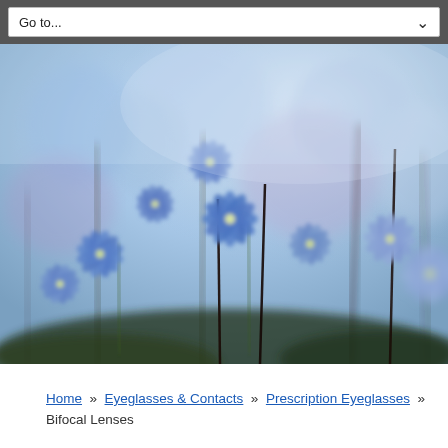Go to...
[Figure (photo): Close-up photograph of blue star-shaped flowers (Scilla/Chionodoxa) with soft blurred background in shades of blue and purple]
Home » Eyeglasses & Contacts » Prescription Eyeglasses » Bifocal Lenses